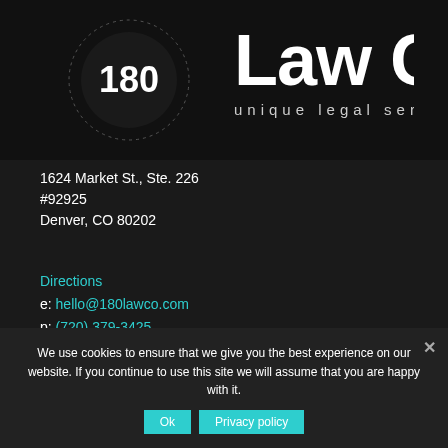[Figure (logo): 180 Law Co. logo with circular dotted emblem and text 'unique legal services' on dark background]
1624 Market St., Ste. 226
#92925
Denver, CO 80202
Directions
e: hello@180lawco.com
p: (720) 379-3425
Sign up for our newsletter!
Disclaimer
Aiden Durham is licensed to practice law solely
We use cookies to ensure that we give you the best experience on our website. If you continue to use this site we will assume that you are happy with it.
Ok   Privacy policy